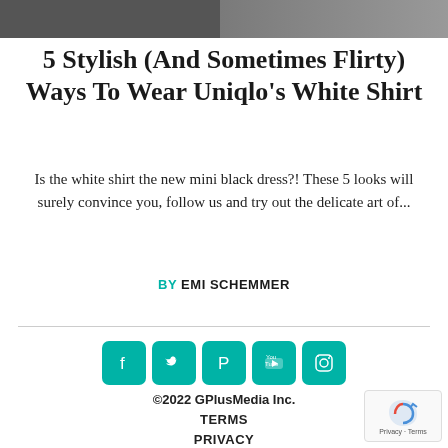[Figure (photo): Partial top photo strip showing person wearing white shirt]
5 Stylish (And Sometimes Flirty) Ways To Wear Uniqlo’s White Shirt
Is the white shirt the new mini black dress?! These 5 looks will surely convince you, follow us and try out the delicate art of...
BY EMI SCHEMMER
[Figure (infographic): Social media icons: Facebook, Twitter, Pinterest, YouTube, Instagram in teal rounded squares]
©2022 GPlusMedia Inc.
TERMS
PRIVACY